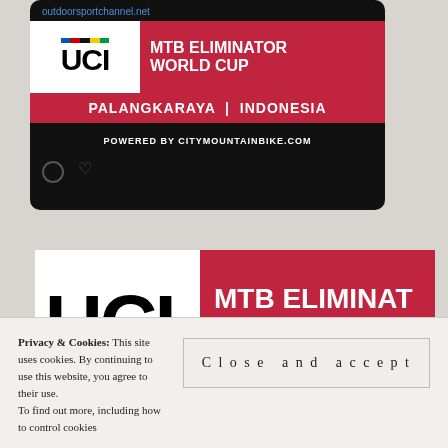[Figure (screenshot): A social media post card on dark background showing outdoorsportchannel.net link and UCI MTB Eliminator World Cup Palangkaraya Indonesia banner powered by CityMountainBike.com]
[Figure (logo): Large cropped UCI MTB Eliminator World Cup banner with white UCI logo area and crimson red right panel with MTB ELIMINAT... WORLD CUP text]
Privacy & Cookies: This site uses cookies. By continuing to use this website, you agree to their use.
To find out more, including how to control cookies